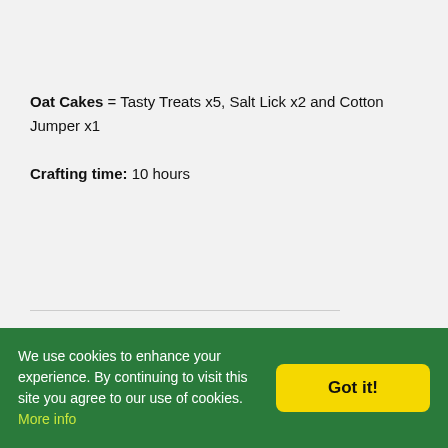Oat Cakes = Tasty Treats x5, Salt Lick x2 and Cotton Jumper x1
Crafting time: 10 hours
[/tab]
[tab title="Recipe List"]
[Figure (photo): Broken image placeholder thumbnail]
White Stallion
We use cookies to enhance your experience. By continuing to visit this site you agree to our use of cookies. More info